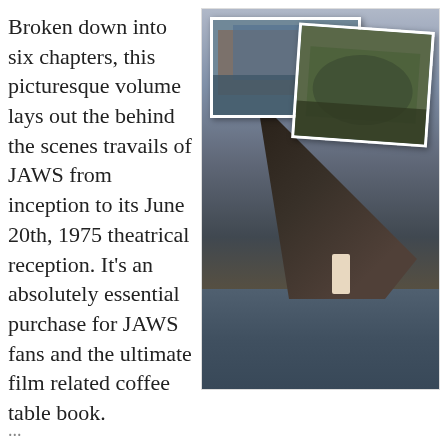Broken down into six chapters, this picturesque volume lays out the behind the scenes travails of JAWS from inception to its June 20th, 1975 theatrical reception. It's an absolutely essential purchase for JAWS fans and the ultimate film related coffee table book.
[Figure (photo): Two overlapping inset photos at top showing behind-the-scenes images from the filming of JAWS, above a large main photograph of the mechanical shark prop partially submerged in water with a crew member standing nearby]